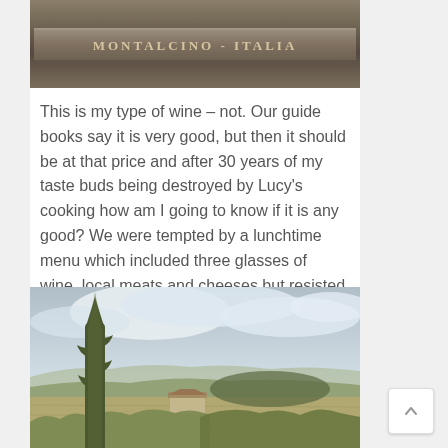[Figure (photo): Cropped top portion of a photo showing a sign that reads MONTALCINO - ITALIA on a dark wooden or stone surface]
This is my type of wine – not. Our guide books say it is very good, but then it should be at that price and after 30 years of my taste buds being destroyed by Lucy's cooking how am I going to know if it is any good? We were tempted by a lunchtime menu which included three glasses of wine, local meats and cheeses but resisted the urge.
[Figure (photo): Landscape photograph of the Tuscan countryside near Montalcino, Italy, featuring a tall cypress tree on the left, a stone farmhouse, rolling hills, vineyards, and a dramatic cloudy sky]